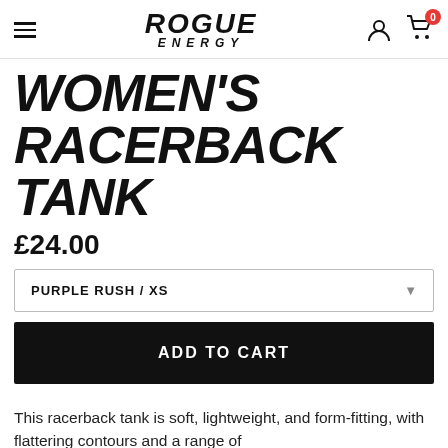ROGUE ENERGY — navigation header with hamburger menu, logo, user icon, cart (0)
WOMEN'S RACERBACK TANK
£24.00
PURPLE RUSH / XS
ADD TO CART
This racerback tank is soft, lightweight, and form-fitting, with flattering contours and a range of